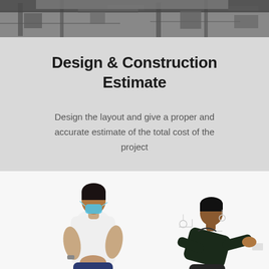[Figure (photo): Top strip photo showing an industrial or construction workspace interior with equipment and structural elements visible]
Design & Construction Estimate
Design the layout and give a proper and accurate estimate of the total cost of the project
[Figure (photo): Two people in a bright white empty room — a woman in a white t-shirt and blue pants with a blue face mask, and a man in dark clothing leaning toward a white wall, examining it]